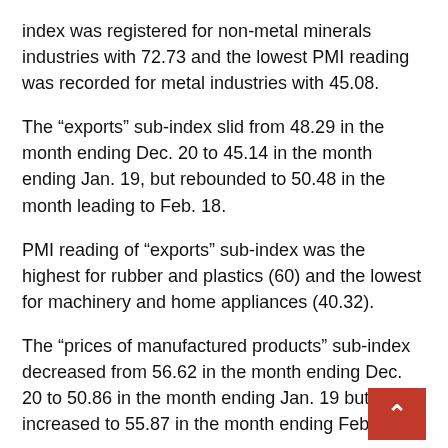index was registered for non-metal minerals industries with 72.73 and the lowest PMI reading was recorded for metal industries with 45.08.
The “exports” sub-index slid from 48.29 in the month ending Dec. 20 to 45.14 in the month ending Jan. 19, but rebounded to 50.48 in the month leading to Feb. 18.
PMI reading of “exports” sub-index was the highest for rubber and plastics (60) and the lowest for machinery and home appliances (40.32).
The “prices of manufactured products” sub-index decreased from 56.62 in the month ending Dec. 20 to 50.86 in the month ending Jan. 19 but increased to 55.87 in the month ending Feb. 18.
Petroleum and gas products recorded the highest of